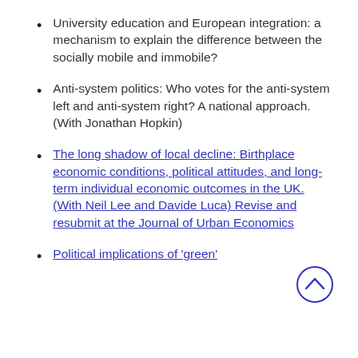University education and European integration: a mechanism to explain the difference between the socially mobile and immobile?
Anti-system politics: Who votes for the anti-system left and anti-system right? A national approach. (With Jonathan Hopkin)
The long shadow of local decline: Birthplace economic conditions, political attitudes, and long-term individual economic outcomes in the UK. (With Neil Lee and Davide Luca) Revise and resubmit at the Journal of Urban Economics
Political implications of 'green'